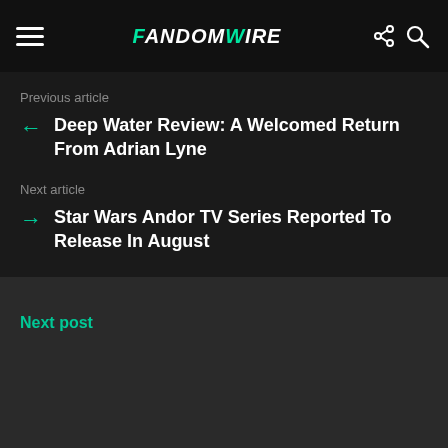FandomWire
Previous article
Deep Water Review: A Welcomed Return From Adrian Lyne
Next article
Star Wars Andor TV Series Reported To Release In August
Next post